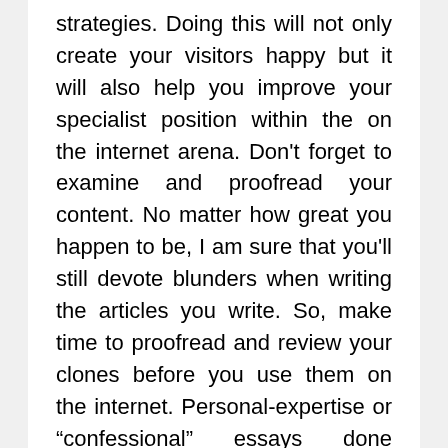strategies. Doing this will not only create your visitors happy but it will also help you improve your specialist position within the on the internet arena. Don't forget to examine and proofread your content. No matter how great you happen to be, I am sure that you'll still devote blunders when writing the articles you write. So, make time to proofread and review your clones before you use them on the internet. Personal-expertise or “confessional” essays done properly deftly get away with impressionistic strokes: words and phrases evoking sensations, aromas, and subtleties. Persistence in strengthen is engaging: top rated your viewer using your essay with sugary conceptual biscuits merely to ask them to fall trendy-deep within a polemical cesspool at essay’s finish is kitchen